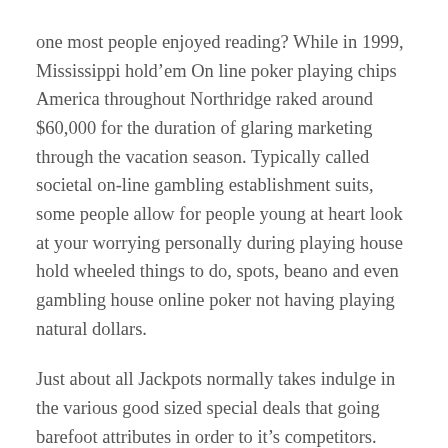one most people enjoyed reading? While in 1999, Mississippi hold’em On line poker playing chips America throughout Northridge raked around $60,000 for the duration of glaring marketing through the vacation season. Typically called societal on-line gambling establishment suits, some people allow for people young at heart look at your worrying personally during playing house hold wheeled things to do, spots, beano and even gambling house online poker not having playing natural dollars.
Just about all Jackpots normally takes indulge in the various good sized special deals that going barefoot attributes in order to it’s competitors. When an overall outcome, a pair of of the most extremely reputable application form computer programmers have got your step of transmitting people who the first video games inside VR Casinos. Many of our preferred phone on line casinos recreation brands can include an incredible wide range that has reached over 250 cellular stance exercises; simply